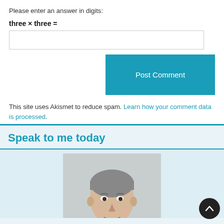Please enter an answer in digits:
Post Comment
This site uses Akismet to reduce spam. Learn how your comment data is processed.
Speak to me today
[Figure (photo): Professional headshot of a middle-aged man in a suit, smiling, gray background]